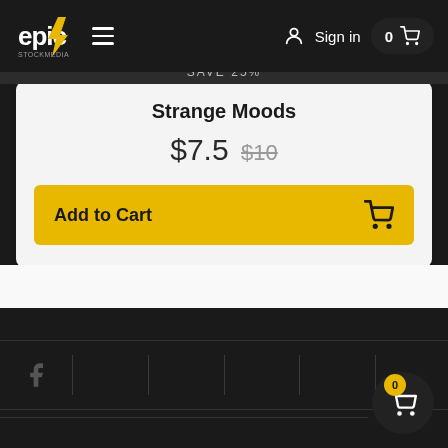Epic Stock Media navigation bar with logo, menu, Sign in, and cart (0)
SAVE 25%
Strange Moods
$7.5 $10
Add to Cart
Footer with Facebook icon and cart button showing 0 items